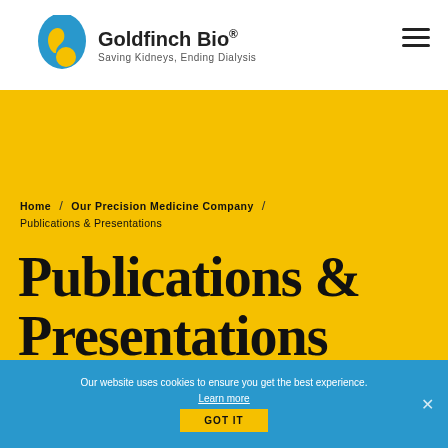[Figure (logo): Goldfinch Bio logo: kidney-shaped icon in blue and yellow, with company name 'Goldfinch Bio' and tagline 'Saving Kidneys, Ending Dialysis']
Home / Our Precision Medicine Company / Publications & Presentations
Publications & Presentations
Our website uses cookies to ensure you get the best experience. Learn more
GOT IT